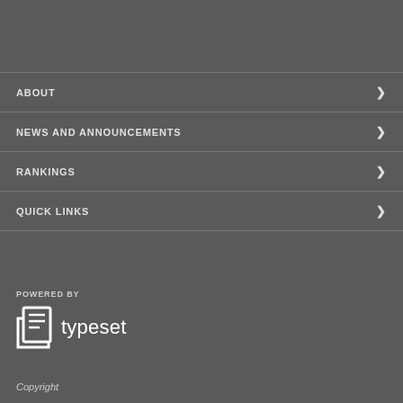ABOUT
NEWS AND ANNOUNCEMENTS
RANKINGS
QUICK LINKS
POWERED BY
[Figure (logo): Typeset logo with document icon and typeset text]
Copyright